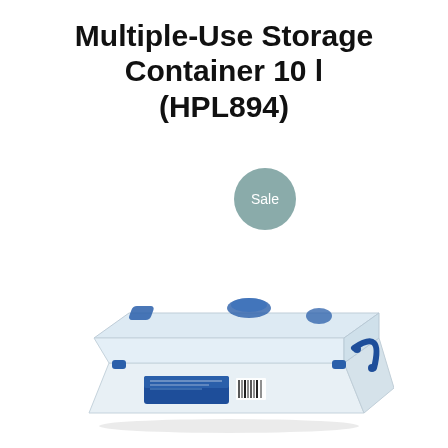Multiple-Use Storage Container 10 l (HPL894)
[Figure (photo): A transparent plastic storage container with blue latches and handle, shown in perspective view. The container has a clear lid with a blue label on the side reading the product name.]
Sale